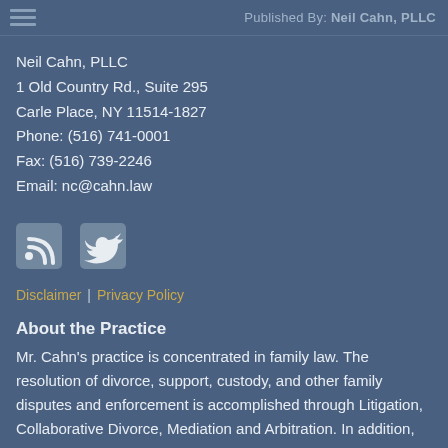Published By: Neil Cahn, PLLC
Neil Cahn, PLLC
1 Old Country Rd., Suite 295
Carle Place, NY 11514-1827
Phone: (516) 741-0001
Fax: (516) 739-2246
Email: nc@cahn.law
[Figure (other): RSS feed icon and Twitter bird icon social media links]
Disclaimer | Privacy Policy
About the Practice
Mr. Cahn's practice is concentrated in family law. The resolution of divorce, support, custody, and other family disputes and enforcement is accomplished through Litigation, Collaborative Divorce, Mediation and Arbitration. In addition, Mr. Cahn mediates and